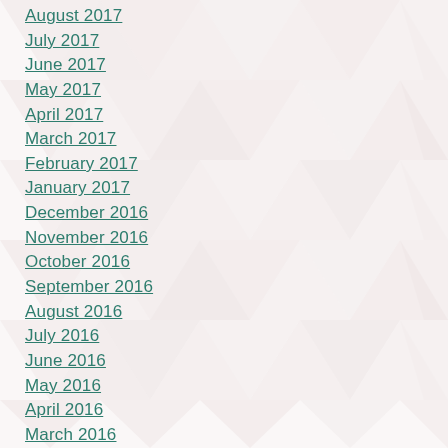August 2017
July 2017
June 2017
May 2017
April 2017
March 2017
February 2017
January 2017
December 2016
November 2016
October 2016
September 2016
August 2016
July 2016
June 2016
May 2016
April 2016
March 2016
February 2016